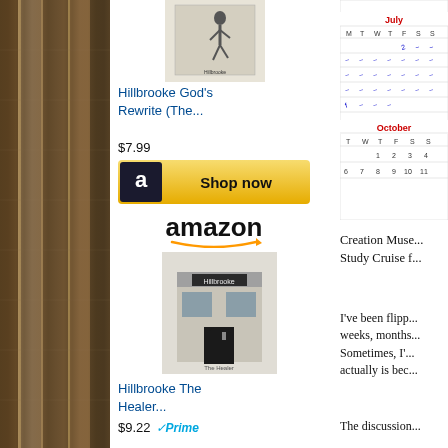[Figure (photo): Book/library photo strip on left side]
[Figure (illustration): Book cover illustration at top of product column]
Hillbrooke God's Rewrite (The...
$7.99
[Figure (screenshot): Amazon Shop now button]
[Figure (logo): Amazon logo with arrow]
[Figure (illustration): Hillbrooke storefront book cover illustration]
Hillbrooke The Healer...
$9.22
[Figure (screenshot): Calendar showing July and October]
Creation Muse... Study Cruise f...
I've been flipp... weeks, months... Sometimes, I'... actually is bec...
The discussion...